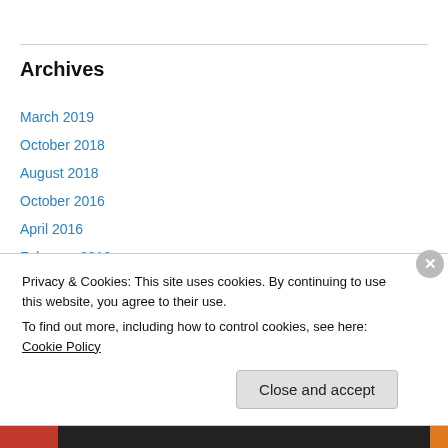Archives
March 2019
October 2018
August 2018
October 2016
April 2016
February 2016
November 2015
September 2015
August 2015
Privacy & Cookies: This site uses cookies. By continuing to use this website, you agree to their use. To find out more, including how to control cookies, see here: Cookie Policy
Close and accept